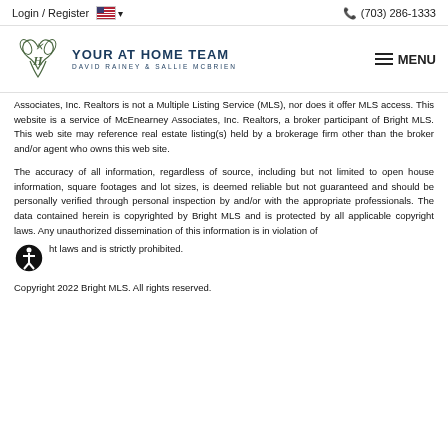Login / Register  🇺🇸 ▾    📞 (703) 286-1333
[Figure (logo): Your At Home Team logo with stylized initials and text 'YOUR AT HOME TEAM DAVID RAINEY & SALLIE MCBRIEN', plus MENU button]
Associates, Inc. Realtors is not a Multiple Listing Service (MLS), nor does it offer MLS access. This website is a service of McEnearney Associates, Inc. Realtors, a broker participant of Bright MLS. This web site may reference real estate listing(s) held by a brokerage firm other than the broker and/or agent who owns this web site.
The accuracy of all information, regardless of source, including but not limited to open house information, square footages and lot sizes, is deemed reliable but not guaranteed and should be personally verified through personal inspection by and/or with the appropriate professionals. The data contained herein is copyrighted by Bright MLS and is protected by all applicable copyright laws. Any unauthorized dissemination of this information is in violation of copyright laws and is strictly prohibited.
Copyright 2022 Bright MLS. All rights reserved.